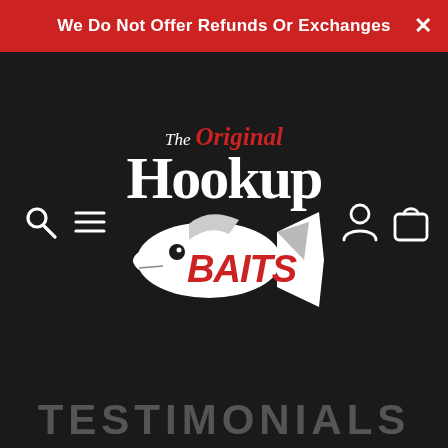We Do Not Offer Refunds Or Exchanges
[Figure (logo): The Original Hookup Baits logo with fish graphic on dark background]
TESTIMONIALS